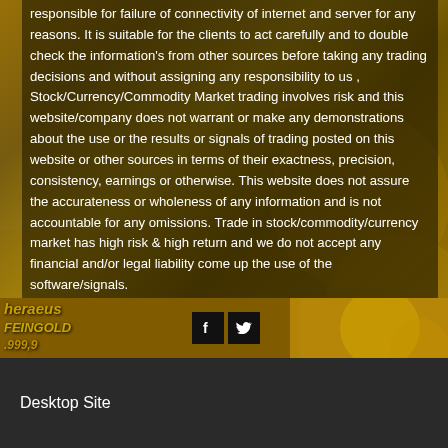responsible for failure of connectivity of internet and server for any reasons. It is suitable for the clients to act carefully and to double check the information's from other sources before taking any trading decisions and without assigning any responsibility to us , Stock/Currency/Commodity Market trading involves risk and this website/company does not warrant or make any demonstrations about the use or the results or signals of trading posted on this website or other sources in terms of their exactness, precision, consistency, earnings or otherwise. This website does not assure the accurateness or wholeness of any information and is not accountable for any omissions. Trade in stock/commodity/currency market has high risk & high return and we do not accept any financial and/or legal liability come up the use of the software/signals.
[Figure (photo): Gold bars and coins background image with text overlaid. Shows Heraeus FEINGOLD 999,9 gold bar markings. Social media icons (Facebook, Twitter) visible in lower portion.]
Desktop Site